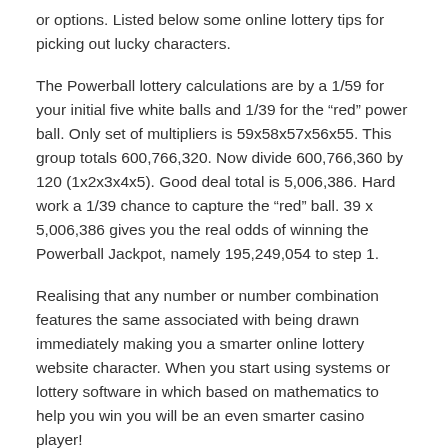or options. Listed below some online lottery tips for picking out lucky characters.
The Powerball lottery calculations are by a 1/59 for your initial five white balls and 1/39 for the “red” power ball. Only set of multipliers is 59x58x57x56x55. This group totals 600,766,320. Now divide 600,766,360 by 120 (1x2x3x4x5). Good deal total is 5,006,386. Hard work a 1/39 chance to capture the “red” ball. 39 x 5,006,386 gives you the real odds of winning the Powerball Jackpot, namely 195,249,054 to step 1.
Realising that any number or number combination features the same associated with being drawn immediately making you a smarter online lottery website character. When you start using systems or lottery software in which based on mathematics to help you win you will be an even smarter casino player!